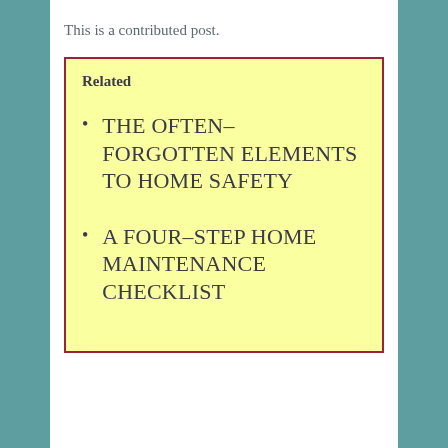This is a contributed post.
Related
THE OFTEN-FORGOTTEN ELEMENTS TO HOME SAFETY
A FOUR-STEP HOME MAINTENANCE CHECKLIST